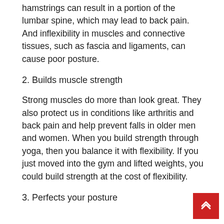hamstrings can result in a portion of the lumbar spine, which may lead to back pain. And inflexibility in muscles and connective tissues, such as fascia and ligaments, can cause poor posture.
2. Builds muscle strength
Strong muscles do more than look great. They also protect us in conditions like arthritis and back pain and help prevent falls in older men and women. When you build strength through yoga, then you balance it with flexibility. If you just moved into the gym and lifted weights, you could build strength at the cost of flexibility.
3. Perfects your posture